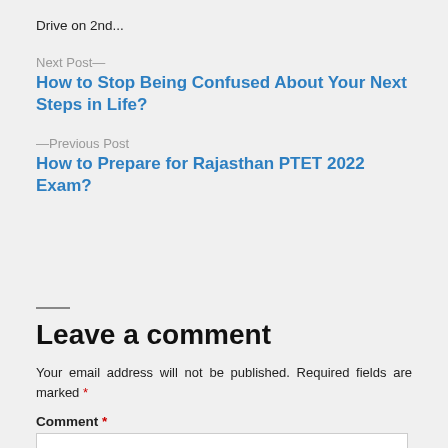Drive on 2nd...
Next Post—
How to Stop Being Confused About Your Next Steps in Life?
—Previous Post
How to Prepare for Rajasthan PTET 2022 Exam?
Leave a comment
Your email address will not be published. Required fields are marked *
Comment *